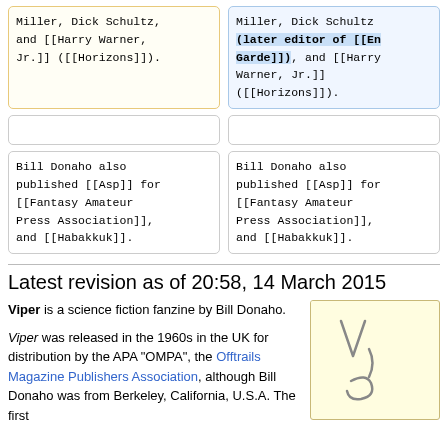Miller, Dick Schultz, and [[Harry Warner, Jr.]] ([[Horizons]]).
Miller, Dick Schultz (later editor of [[En Garde]]), and [[Harry Warner, Jr.]] ([[Horizons]]).
Bill Donaho also published [[Asp]] for [[Fantasy Amateur Press Association]], and [[Habakkuk]].
Bill Donaho also published [[Asp]] for [[Fantasy Amateur Press Association]], and [[Habakkuk]].
Latest revision as of 20:58, 14 March 2015
Viper is a science fiction fanzine by Bill Donaho.
Viper was released in the 1960s in the UK for distribution by the APA "OMPA", the Offtrails Magazine Publishers Association, although Bill Donaho was from Berkeley, California, U.S.A. The first
[Figure (photo): A yellowed page with hand-drawn sketches resembling letters or shapes on a light yellow background.]